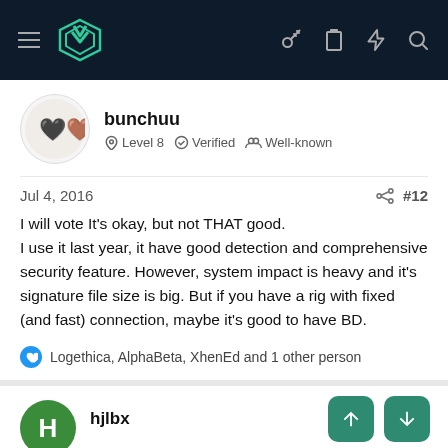bunchuu — Level 8 · Verified · Well-known
Jul 4, 2016   #12
I will vote It's okay, but not THAT good.
I use it last year, it have good detection and comprehensive security feature. However, system impact is heavy and it's signature file size is big. But if you have a rig with fixed (and fast) connection, maybe it's good to have BD.
Logethica, AlphaBeta, XhenEd and 1 other person
hjlbx